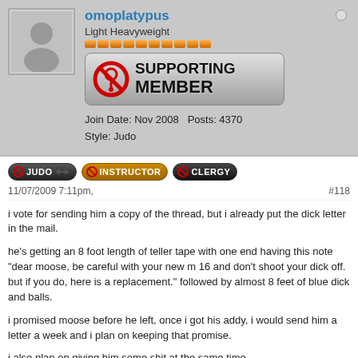[Figure (screenshot): Forum post profile section showing username omoplatypus, rank Light Heavyweight, orange pip bar, Supporting Member badge, join date Nov 2008, posts 4370, style Judo]
omoplatypus
Light Heavyweight
Join Date: Nov 2008   Posts: 4370
Style: Judo
JUDO   INSTRUCTOR   CLERGY
11/07/2009 7:11pm,
#118
i vote for sending him a copy of the thread, but i already put the dick letter in the mail.
he's getting an 8 foot length of teller tape with one end having this note "dear moose, be careful with your new m 16 and don't shoot your dick off. but if you do, here is a replacement." followed by almost 8 feet of blue dick and balls.
i promised moose before he left, once i got his addy, i would send him a letter a week and i plan on keeping that promise.
i also plan on giving him some shit at the same time.